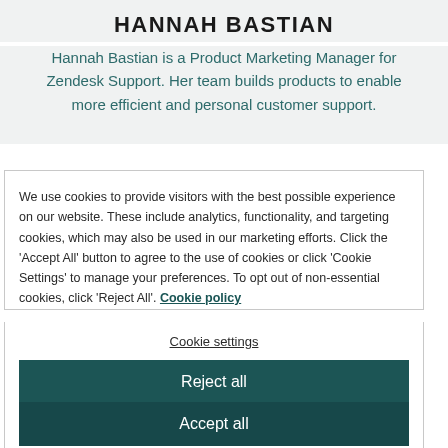HANNAH BASTIAN
Hannah Bastian is a Product Marketing Manager for Zendesk Support. Her team builds products to enable more efficient and personal customer support.
We use cookies to provide visitors with the best possible experience on our website. These include analytics, functionality, and targeting cookies, which may also be used in our marketing efforts. Click the 'Accept All' button to agree to the use of cookies or click 'Cookie Settings' to manage your preferences. To opt out of non-essential cookies, click 'Reject All'. Cookie policy
Cookie settings
Reject all
Accept all